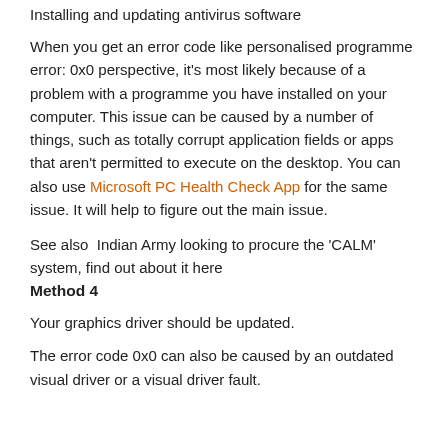Installing and updating antivirus software
When you get an error code like personalised programme error: 0x0 perspective, it's most likely because of a problem with a programme you have installed on your computer. This issue can be caused by a number of things, such as totally corrupt application fields or apps that aren't permitted to execute on the desktop. You can also use Microsoft PC Health Check App for the same issue. It will help to figure out the main issue.
See also  Indian Army looking to procure the 'CALM' system, find out about it here
Method 4
Your graphics driver should be updated.
The error code 0x0 can also be caused by an outdated visual driver or a visual driver fault.